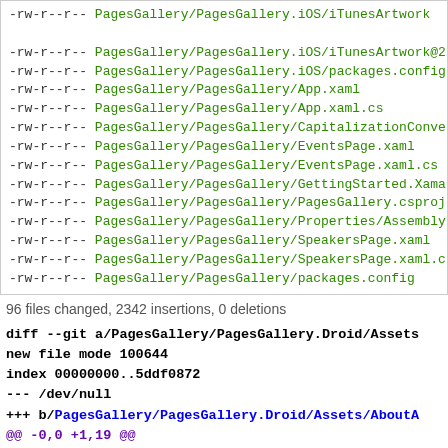-rw-r--r-- PagesGallery/PagesGallery.iOS/iTunesArtwork
-rw-r--r-- PagesGallery/PagesGallery.iOS/iTunesArtwork@2x
-rw-r--r-- PagesGallery/PagesGallery.iOS/packages.config
-rw-r--r-- PagesGallery/PagesGallery/App.xaml
-rw-r--r-- PagesGallery/PagesGallery/App.xaml.cs
-rw-r--r-- PagesGallery/PagesGallery/CapitalizationConverter.cs
-rw-r--r-- PagesGallery/PagesGallery/EventsPage.xaml
-rw-r--r-- PagesGallery/PagesGallery/EventsPage.xaml.cs
-rw-r--r-- PagesGallery/PagesGallery/GettingStarted.Xamarin
-rw-r--r-- PagesGallery/PagesGallery/PagesGallery.csproj
-rw-r--r-- PagesGallery/PagesGallery/Properties/AssemblyInfo.cs
-rw-r--r-- PagesGallery/PagesGallery/SpeakersPage.xaml
-rw-r--r-- PagesGallery/PagesGallery/SpeakersPage.xaml.cs
-rw-r--r-- PagesGallery/PagesGallery/packages.config
96 files changed, 2342 insertions, 0 deletions
diff --git a/PagesGallery/PagesGallery.Droid/Assets
new file mode 100644
index 00000000..5ddf0872
--- /dev/null
+++ b/PagesGallery/PagesGallery.Droid/Assets/AboutA
@@ -0,0 +1,19 @@
+Any raw assets you want to be deployed with your